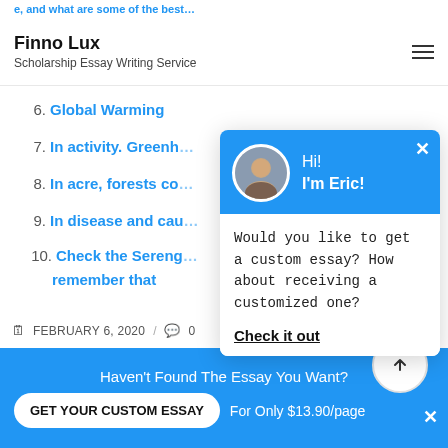Finno Lux — Scholarship Essay Writing Service
6. Global Warming
7. In activity. Greenh…
8. In acre, forests co…
9. In disease and cau…
10. Check the Sereng… remember that
[Figure (screenshot): Chat popup with avatar photo of Eric. Blue header with 'Hi! I'm Eric!'. Body text: 'Would you like to get a custom essay? How about receiving a customized one?' with 'Check it out' CTA link.]
FEBRUARY 6, 2020 / 0
Haven't Found The Essay You Want? GET YOUR CUSTOM ESSAY For Only $13.90/page